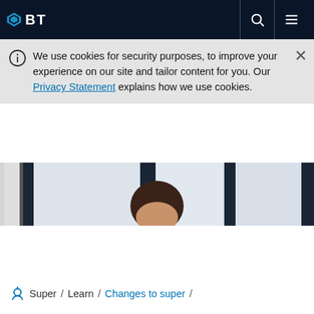BT
We use cookies for security purposes, to improve your experience on our site and tailor content for you. Our Privacy Statement explains how we use cookies.
[Figure (photo): Partial view of a woman's face in an office environment with large windows and dark vertical frames]
Super / Learn / Changes to super /